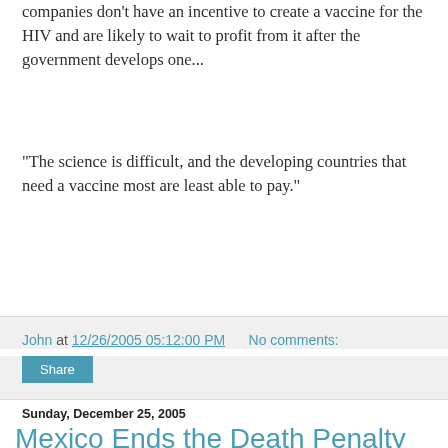companies don't have an incentive to create a vaccine for the HIV and are likely to wait to profit from it after the government develops one...
"The science is difficult, and the developing countries that need a vaccine most are least able to pay."
John at 12/26/2005 05:12:00 PM    No comments:
Share
Sunday, December 25, 2005
Mexico Ends the Death Penalty
Mexico Ends the Death Penalty
Nice to know we live between two civilized countries:
On December 9th, President Vicente Fox signed